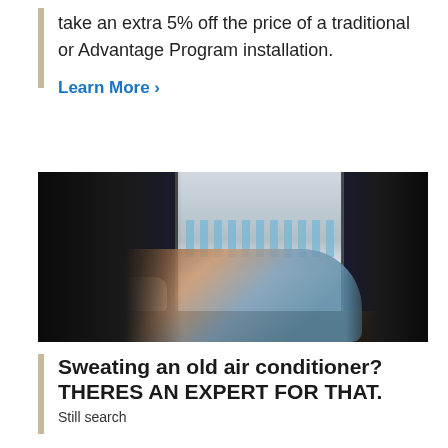take an extra 5% off the price of a traditional or Advantage Program installation.
Learn More >
[Figure (photo): A woman lying on the floor in front of an open refrigerator filled with water bottles, trying to cool down from the heat.]
Sweating an old air conditioner? THERES AN EXPERT FOR THAT.
Still searching...